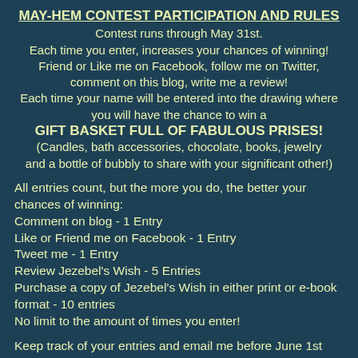MAY-HEM CONTEST PARTICIPATION AND RULES
Contest runs through May 31st.
Each time you enter, increases your chances of winning!
Friend or Like me on Facebook, follow me on Twitter, comment on this blog, write me a review!
Each time your name will be entered into the drawing where you will have the chance to win a
GIFT BASKET FULL OF FABULOUS PRISES!
(Candles, bath accessories, chocolate, books, jewelry and a bottle of bubbly to share with your significant other!)
All entries count, but the more you do, the better your chances of winning:
Comment on blog - 1 Entry
Like or Friend me on Facebook - 1 Entry
Tweet me - 1 Entry
Review Jezebel's Wish - 5 Entries
Purchase a copy of Jezebel's Wish in either print or e-book format - 10 entries
No limit to the amount of times you enter!
Keep track of your entries and email me before June 1st